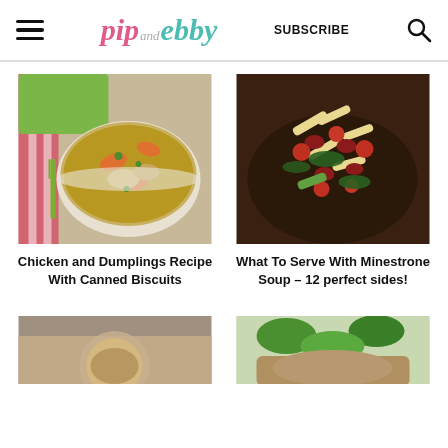pip and ebby  SUBSCRIBE
[Figure (photo): Bowl of chicken and dumplings soup with carrots, chicken pieces, and herbs on a striped cloth with a green fork]
Chicken and Dumplings Recipe With Canned Biscuits
[Figure (photo): Dark bowl filled with minestrone soup containing penne pasta, kidney beans, tomatoes, and kale]
What To Serve With Minestrone Soup – 12 perfect sides!
[Figure (photo): Partial view of a food dish, bottom left of page]
[Figure (photo): Partial view of a food dish with green herbs, bottom right of page]